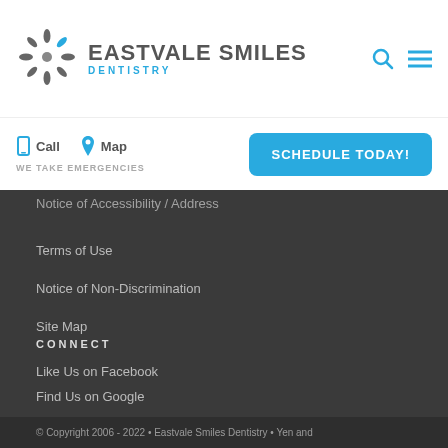[Figure (logo): Eastvale Smiles Dentistry logo with starburst icon and text]
Call   Map
WE TAKE EMERGENCIES
SCHEDULE TODAY!
Terms of Use
Notice of Non-Discrimination
Site Map
CONNECT
Like Us on Facebook
Find Us on Google
© Copyright 2006 - 2022 • Eastvale Smiles Dentistry • Yen and